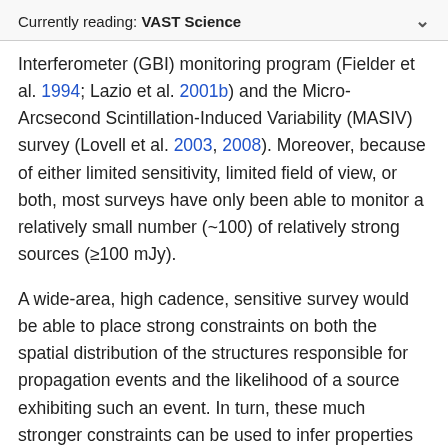Currently reading: VAST Science
Interferometer (GBI) monitoring program (Fielder et al. 1994; Lazio et al. 2001b) and the Micro-Arcsecond Scintillation-Induced Variability (MASIV) survey (Lovell et al. 2003, 2008). Moreover, because of either limited sensitivity, limited field of view, or both, most surveys have only been able to monitor a relatively small number (~100) of relatively strong sources (≥100 mJy).
A wide-area, high cadence, sensitive survey would be able to place strong constraints on both the spatial distribution of the structures responsible for propagation events and the likelihood of a source exhibiting such an event. In turn, these much stronger constraints can be used to infer properties of the ionised ISM and the mechanisms by which such structures are generated. As an illustration of the kind of monitoring program that ASKAP will enable, a survey